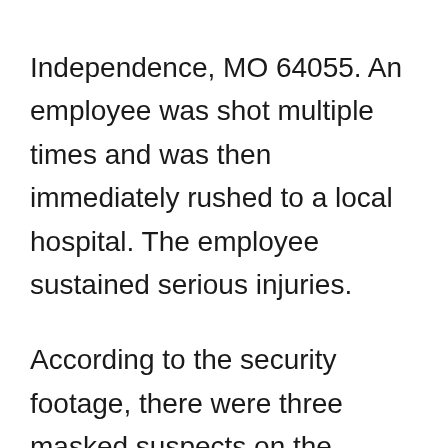Independence, MO 64055. An employee was shot multiple times and was then immediately rushed to a local hospital. The employee sustained serious injuries.
According to the security footage, there were three masked suspects on the recorded video, one of which fired the shots. At this time Independence Police are asking anyone with any information to contact the TIPS Hotline at 816-474-8477, IPD at 816-325-7777, or email